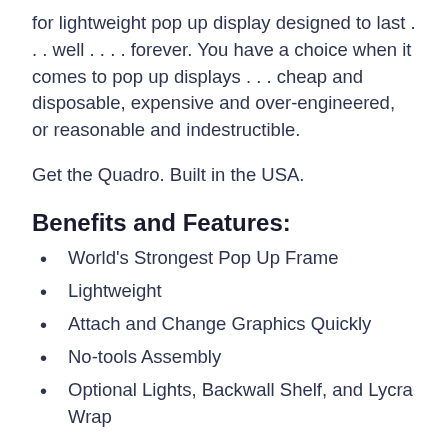for lightweight pop up display designed to last . . . well . . . . forever. You have a choice when it comes to pop up displays . . . cheap and disposable, expensive and over-engineered, or reasonable and indestructible.
Get the Quadro. Built in the USA.
Benefits and Features:
World's Strongest Pop Up Frame
Lightweight
Attach and Change Graphics Quickly
No-tools Assembly
Optional Lights, Backwall Shelf, and Lycra Wrap